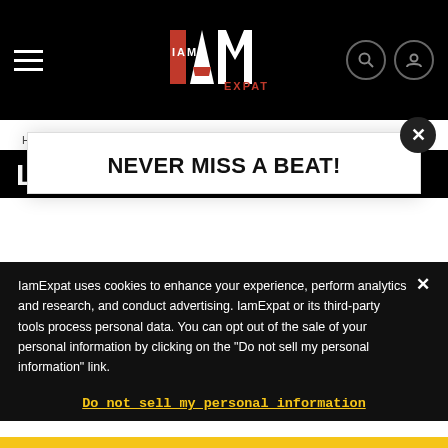IamExpat header with hamburger menu, logo, search and account icons
Home ▶ Lifestyle ▶ Lifestyle News
LI...
NEVER MISS A BEAT!
IamExpat uses cookies to enhance your experience, perform analytics and research, and conduct advertising. IamExpat or its third-party tools process personal data. You can opt out of the sale of your personal information by clicking on the "Do not sell my personal information" link.
Do not sell my personal information